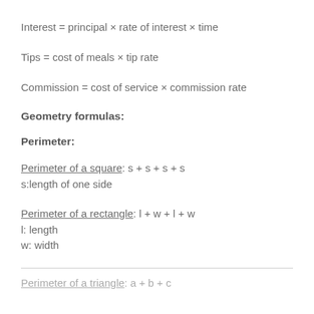Geometry formulas:
Perimeter:
Perimeter of a square: s + s + s + s
s:length of one side
Perimeter of a rectangle: l + w + l + w
l: length
w: width
Perimeter of a triangle: a + b + c